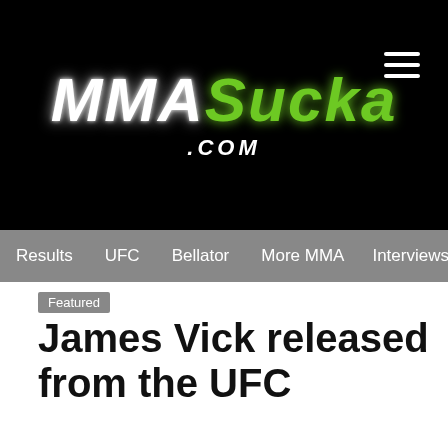[Figure (logo): MMASucka.com logo on black background with hamburger menu icon]
Results | UFC | Bellator | More MMA | Interviews | S
Featured
James Vick released from the UFC
Ash Camyab | 15:44 15/10/20
[Figure (infographic): Social sharing icons: Facebook, Twitter, WhatsApp, LinkedIn, Flipboard, Email]
[Figure (photo): Dark background photo at bottom of page]